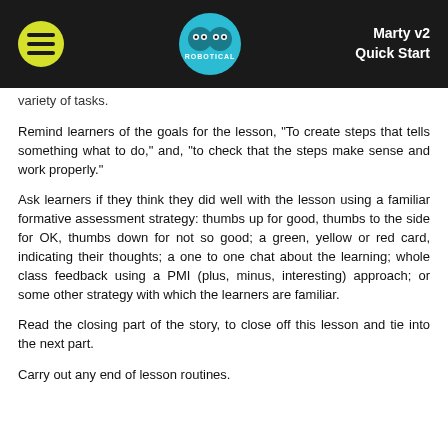Marty v2 Quick Start
variety of tasks.
Remind learners of the goals for the lesson, "To create steps that tells something what to do," and, "to check that the steps make sense and work properly."
Ask learners if they think they did well with the lesson using a familiar formative assessment strategy: thumbs up for good, thumbs to the side for OK, thumbs down for not so good; a green, yellow or red card, indicating their thoughts; a one to one chat about the learning; whole class feedback using a PMI (plus, minus, interesting) approach; or some other strategy with which the learners are familiar.
Read the closing part of the story, to close off this lesson and tie into the next part.
Carry out any end of lesson routines.